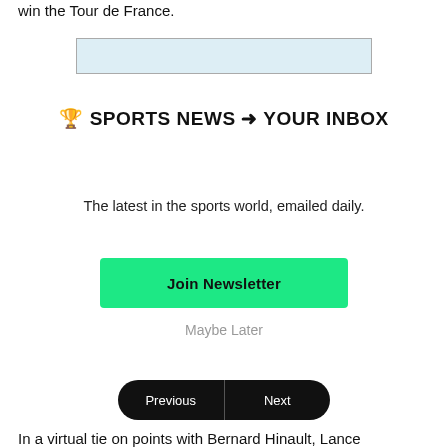win the Tour de France.
[Figure (screenshot): Light blue input field for email newsletter signup]
🏆 SPORTS NEWS ➜ YOUR INBOX
The latest in the sports world, emailed daily.
Join Newsletter
Maybe Later
Previous  Next
In a virtual tie on points with Bernard Hinault, Lance